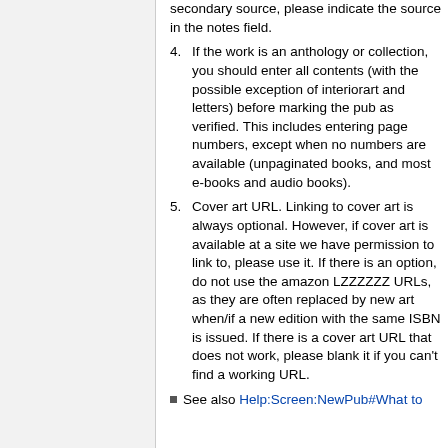secondary source, please indicate the source in the notes field.
4. If the work is an anthology or collection, you should enter all contents (with the possible exception of interiorart and letters) before marking the pub as verified. This includes entering page numbers, except when no numbers are available (unpaginated books, and most e-books and audio books).
5. Cover art URL. Linking to cover art is always optional. However, if cover art is available at a site we have permission to link to, please use it. If there is an option, do not use the amazon LZZZZZZ URLs, as they are often replaced by new art when/if a new edition with the same ISBN is issued. If there is a cover art URL that does not work, please blank it if you can't find a working URL.
See also Help:Screen:NewPub#What to